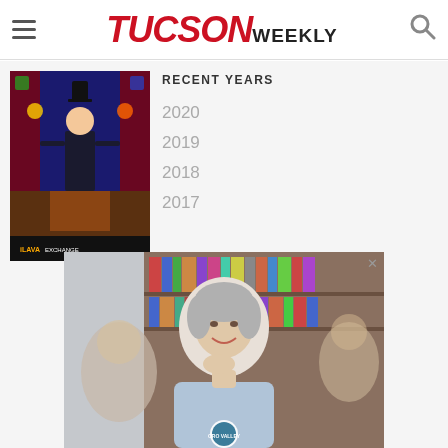TUCSON WEEKLY
RECENT YEARS
2020
2019
2018
2017
[Figure (illustration): Tucson Weekly magazine cover showing a colorful illustrated scene with a magician in top hat performing at a stage with audience]
[Figure (photo): Advertisement photo showing a middle-aged woman with short gray hair smiling in a library setting, wearing a light blue shirt with an Oro Valley Arizona logo]